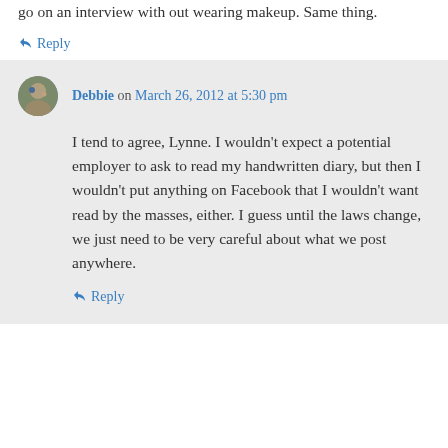go on an interview with out wearing makeup. Same thing.
↳ Reply
Debbie on March 26, 2012 at 5:30 pm
I tend to agree, Lynne. I wouldn't expect a potential employer to ask to read my handwritten diary, but then I wouldn't put anything on Facebook that I wouldn't want read by the masses, either. I guess until the laws change, we just need to be very careful about what we post anywhere.
↳ Reply